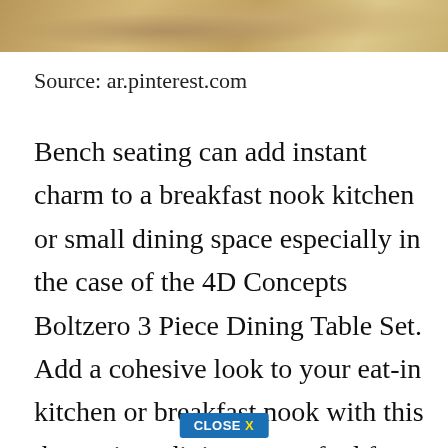[Figure (photo): Partial photo of a wooden surface, cropped at top of page]
Source: ar.pinterest.com
Bench seating can add instant charm to a breakfast nook kitchen or small dining space especially in the case of the 4D Concepts Boltzero 3 Piece Dining Table Set. Add a cohesive look to your eat-in kitchen or breakfast nook with this three-piece dining set crafted from manufactured wood and showcasing a corner side chair one table and a dining bench. Was 28552 285.